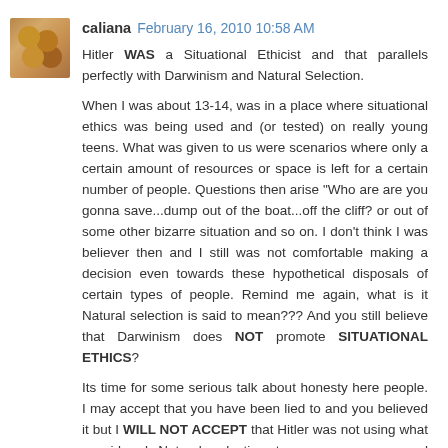[Figure (photo): Small square avatar image showing what appears to be bread or baked goods with a warm brown tone]
caliana February 16, 2010 10:58 AM
Hitler WAS a Situational Ethicist and that parallels perfectly with Darwinism and Natural Selection.
When I was about 13-14, was in a place where situational ethics was being used and (or tested) on really young teens. What was given to us were scenarios where only a certain amount of resources or space is left for a certain number of people. Questions then arise "Who are are you gonna save...dump out of the boat...off the cliff? or out of some other bizarre situation and so on. I don't think I was believer then and I still was not comfortable making a decision even towards these hypothetical disposals of certain types of people. Remind me again, what is it Natural selection is said to mean??? And you still believe that Darwinism does NOT promote SITUATIONAL ETHICS?
Its time for some serious talk about honesty here people. I may accept that you have been lied to and you believed it but I WILL NOT ACCEPT that Hitler was not using what considered Natural selection to save resources and procure